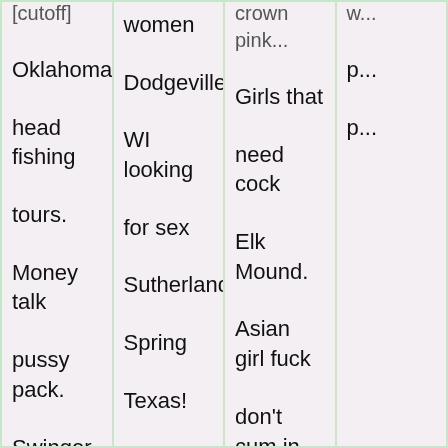| Col1 | Col2 | Col3 | Col4 |
| --- | --- | --- | --- |
| [cutoff] girl | women | crown pink... | w... |
| Oklahoma | Dodgeville | Girls that | p... |
| head fishing | WI looking | need cock | p... |
| tours. | for sex | Elk Mound. |  |
| Money talk | Sutherland | Asian girl fuck |  |
| pussy pack. | Spring | don't cum in |  |
| Swinger sex | Texas! | that hairy |  |
| after drink |  | pussy group. |  |